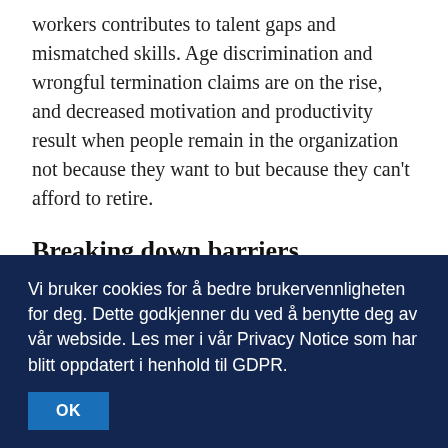workers contributes to talent gaps and mismatched skills. Age discrimination and wrongful termination claims are on the rise, and decreased motivation and productivity result when people remain in the organization not because they want to but because they can't afford to retire.
Breaking down barriers
Ageism and age discrimination create unnecessary roadblocks — cultural and psychological barriers that prevent companies from fully leveraging the
Vi bruker cookies for å bedre brukervennligheten for deg. Dette godkjenner du ved å benytte deg av vår webside. Les mer i vår Privacy Notice som har blitt oppdatert i henhold til GDPR.